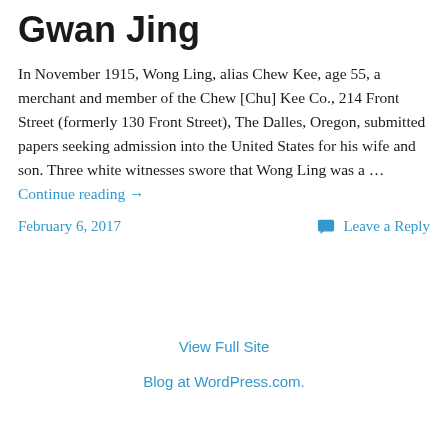Gwan Jing
In November 1915, Wong Ling, alias Chew Kee, age 55, a merchant and member of the Chew [Chu] Kee Co., 214 Front Street (formerly 130 Front Street), The Dalles, Oregon, submitted papers seeking admission into the United States for his wife and son. Three white witnesses swore that Wong Ling was a … Continue reading →
February 6, 2017   Leave a Reply
View Full Site
Blog at WordPress.com.